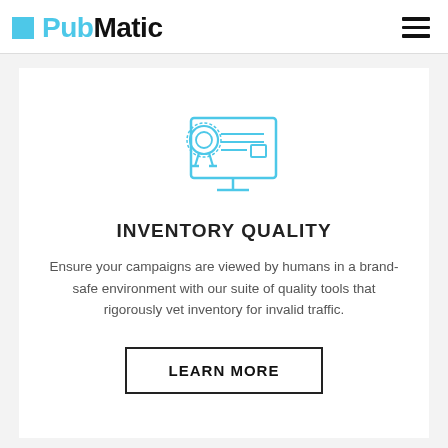PubMatic
[Figure (illustration): Icon of a computer monitor displaying a certificate/award with a medal/ribbon badge on the left side, rendered in light blue outline style]
INVENTORY QUALITY
Ensure your campaigns are viewed by humans in a brand-safe environment with our suite of quality tools that rigorously vet inventory for invalid traffic.
LEARN MORE